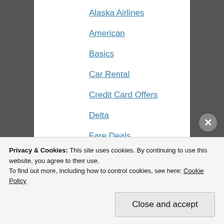Alaska Airlines
American
Basics
Car Rental
Credit Card Offers
Delta
Fare Deals
From the Blogosphere
Gear
Hilton
Hotels
Privacy & Cookies: This site uses cookies. By continuing to use this website, you agree to their use.
To find out more, including how to control cookies, see here: Cookie Policy
Close and accept